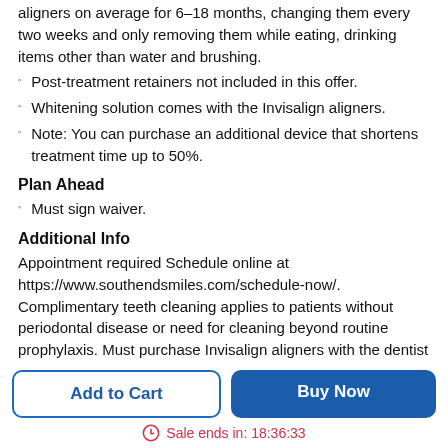aligners on average for 6–18 months, changing them every two weeks and only removing them while eating, drinking items other than water and brushing.
Post-treatment retainers not included in this offer.
Whitening solution comes with the Invisalign aligners.
Note: You can purchase an additional device that shortens treatment time up to 50%.
Plan Ahead
Must sign waiver.
Additional Info
Appointment required Schedule online at https://www.southendsmiles.com/schedule-now/. Complimentary teeth cleaning applies to patients without periodontal disease or need for cleaning beyond routine prophylaxis. Must purchase Invisalign aligners with the dentist treatment to qualify for the
Add to Cart
Buy Now
Sale ends in: 18:36:33